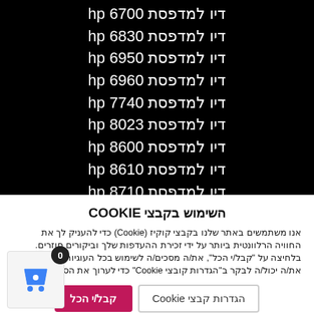דיו למדפסת hp 6700
דיו למדפסת hp 6830
דיו למדפסת hp 6950
דיו למדפסת hp 6960
דיו למדפסת hp 7740
דיו למדפסת hp 8023
דיו למדפסת hp 8600
דיו למדפסת hp 8610
דיו למדפסת hp 8710
דיו למדפסת hp 8700
השימוש בקבצי COOKIE
אנו משתמשים באתר שלנו בקבצי קוקיז (Cookie) כדי להעניק לך את החוויה הרלוונטית ביותר על ידי זכירת ההעדפות שלך וביקורים חוזרים. בלחיצה על "קבל/י הכל", את/ה מסכים/ה לשימוש בכל העוגיות. עם זאת, את/ה יכול/ה לבקר ב"הגדרות קובצי Cookie" כדי לערוך את הסכמתך.